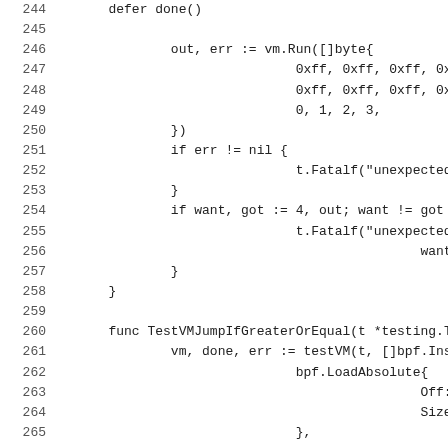Code listing lines 244-265: Go source code for TestVMJumpIfGreaterOrEqual test function and surrounding context.